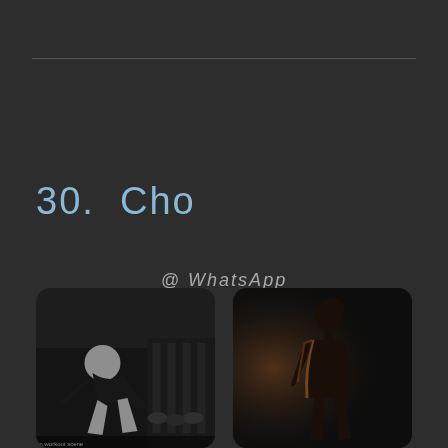30.  Cho
@ WhatsApp
[Figure (photo): Two photos side by side: left shows a person exercising in a gym with weights, right shows a dark silhouette of a person against a black background]